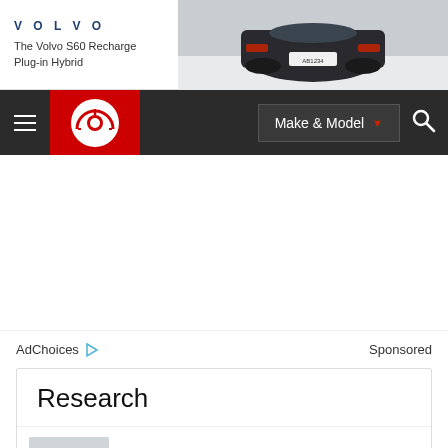[Figure (photo): Volvo advertisement banner showing VOLVO logo, text 'The Volvo S60 Recharge Plug-in Hybrid', and rear view of a dark Volvo S60 car on a light background]
[Figure (screenshot): Edmunds website navigation bar with hamburger menu, red Edmunds logo, 'Make & Model' dropdown button, and search icon on dark background]
AdChoices ▷
Sponsored
Research
MSRP: $36,500 - $79,700